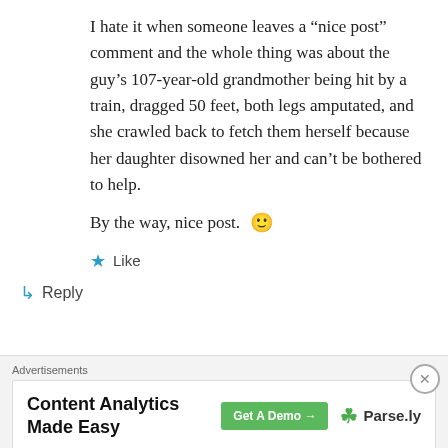I hate it when someone leaves a “nice post” comment and the whole thing was about the guy’s 107-year-old grandmother being hit by a train, dragged 50 feet, both legs amputated, and she crawled back to fetch them herself because her daughter disowned her and can’t be bothered to help.
By the way, nice post. 🙂
★ Like
↳ Reply
Advertisements
[Figure (screenshot): Advertisement banner for Parse.ly: Content Analytics Made Easy, with a green Get A Demo button and Parse.ly logo]